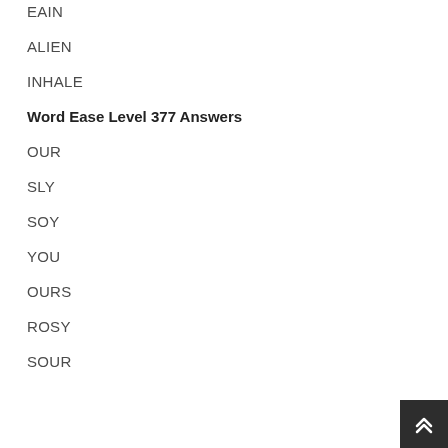EAIN
ALIEN
INHALE
Word Ease Level 377 Answers
OUR
SLY
SOY
YOU
OURS
ROSY
SOUR